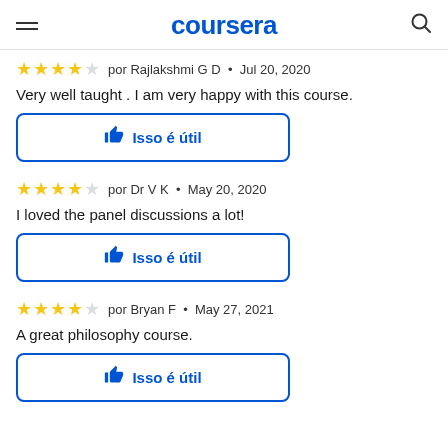coursera
★★★★☆ por Rajlakshmi G D · Jul 20, 2020
Very well taught . I am very happy with this course.
👍 Isso é útil
★★★★☆ por Dr V K · May 20, 2020
I loved the panel discussions a lot!
👍 Isso é útil
★★★★☆ por Bryan F · May 27, 2021
A great philosophy course.
👍 Isso é útil